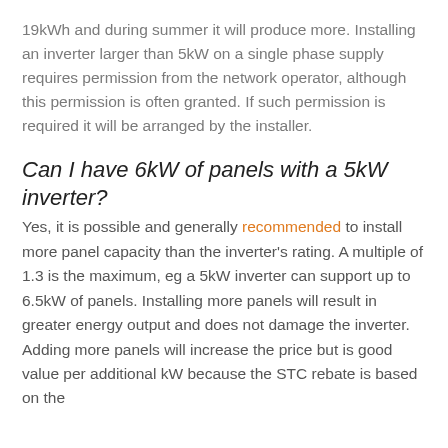19kWh and during summer it will produce more. Installing an inverter larger than 5kW on a single phase supply requires permission from the network operator, although this permission is often granted. If such permission is required it will be arranged by the installer.
Can I have 6kW of panels with a 5kW inverter?
Yes, it is possible and generally recommended to install more panel capacity than the inverter's rating. A multiple of 1.3 is the maximum, eg a 5kW inverter can support up to 6.5kW of panels. Installing more panels will result in greater energy output and does not damage the inverter. Adding more panels will increase the price but is good value per additional kW because the STC rebate is based on the